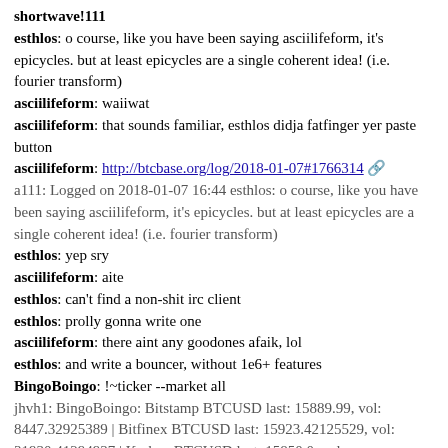shortwave!111
esthlos: o course, like you have been saying asciilifeform, it's epicycles. but at least epicycles are a single coherent idea! (i.e. fourier transform)
asciilifeform: waiiwat
asciilifeform: that sounds familiar, esthlos didja fatfinger yer paste button
asciilifeform: http://btcbase.org/log/2018-01-07#1766314
a111: Logged on 2018-01-07 16:44 esthlos: o course, like you have been saying asciilifeform, it's epicycles. but at least epicycles are a single coherent idea! (i.e. fourier transform)
esthlos: yep sry
asciilifeform: aite
esthlos: can't find a non-shit irc client
esthlos: prolly gonna write one
asciilifeform: there aint any goodones afaik, lol
esthlos: and write a bouncer, without 1e6+ features
BingoBoingo: !~ticker --market all
jhvh1: BingoBoingo: Bitstamp BTCUSD last: 15889.99, vol: 8447.32925389 | Bitfinex BTCUSD last: 15923.42125529, vol: 31930.41294937 | Kraken BTCUSD last: 15850.0, vol: 2252.24896724 | Volume-weighted last average: 15912.9176696
mircea_popescu: epicycles are not a single coherent idea.
mircea_popescu: epicycles are the idea that "i justwant to", which is neither single nor coherent, it is however a simple and